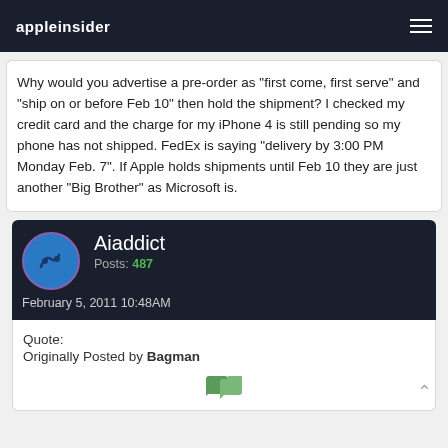appleinsider
Why would you advertise a pre-order as "first come, first serve" and "ship on or before Feb 10" then hold the shipment? I checked my credit card and the charge for my iPhone 4 is still pending so my phone has not shipped. FedEx is saying "delivery by 3:00 PM Monday Feb. 7". If Apple holds shipments until Feb 10 they are just another "Big Brother" as Microsoft is.
Aiaddict
Posts: 487
February 5, 2011 10:48AM
Quote:
Originally Posted by Bagman